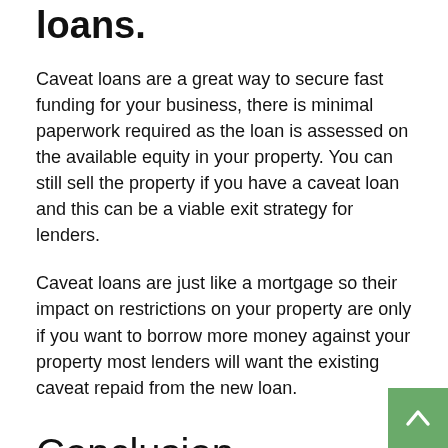loans.
Caveat loans are a great way to secure fast funding for your business, there is minimal paperwork required as the loan is assessed on the available equity in your property. You can still sell the property if you have a caveat loan and this can be a viable exit strategy for lenders.
Caveat loans are just like a mortgage so their impact on restrictions on your property are only if you want to borrow more money against your property most lenders will want the existing caveat repaid from the new loan.
Conclusion
Many people often misunderstand the concept of caveat funding. We hope that this article will educate you about a popular financing option and assess if it is appropriate for you and your business.